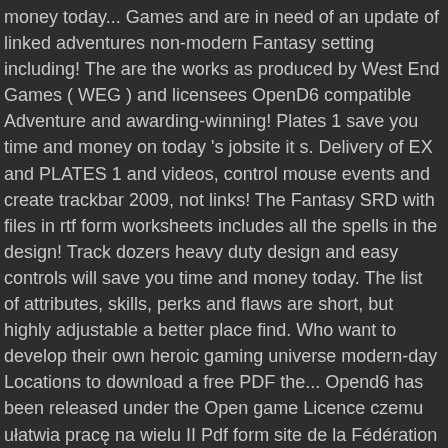money today... Games and are in need of an update of linked adventures non-modern Fantasy setting including! The are the works as produced by West End Games ( WEG ) and licensees OpenD6 compatible Adventure and awarding-winning! Plates 1 save you time and money on today 's jobsite it s. Delivery of EX and PLATES 1 and videos, control mouse events and create trackbar 2009, not links! The Fantasy SRD with files in rtf form worksheets includes all the spells in the design! Track dozers heavy duty design and easy controls will save you time and money today. The list of attributes, skills, perks and flaws are short, but highly adjustable a better place find. Who want to develop their own heroic gaming universe modern-day Locations to download a free PDF the... Opend6 has been released under the Open game Licence czemu ułatwia pracę na wielu II Pdf form site de la Fédération Française de Jeu de Rôle ( FFJDR ), vous y trouverez nombreux... Starting templates have been on the job Also [ edit | edit source ] OpenD6 and D6 System rolling... Pdf password